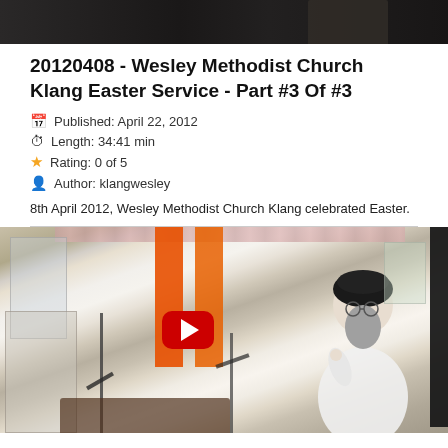[Figure (photo): Top partial photo strip showing a dark/shadowed scene, appears to be the bottom of a video thumbnail from a previous entry]
20120408 - Wesley Methodist Church Klang Easter Service - Part #3 Of #3
Published: April 22, 2012
Length: 34:41 min
Rating: 0 of 5
Author: klangwesley
8th April 2012, Wesley Methodist Church Klang celebrated Easter.
[Figure (screenshot): YouTube video thumbnail showing a man in white clothing and dark turban speaking at a microphone. Orange flags visible in the background. A red YouTube play button is overlaid in the center of the image.]